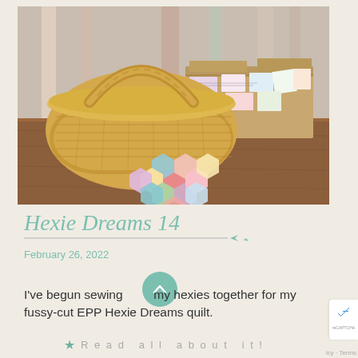[Figure (photo): A wicker basket with a handle sits on a wooden table next to a cardboard box filled with folded fabric pieces. In the foreground are colorful hexagon quilt pieces arranged in a flower pattern. Striped background in muted colors.]
Hexie Dreams 14
February 26, 2022
I've begun sewing my hexies together for my fussy-cut EPP Hexie Dreams quilt.
Read all about it!